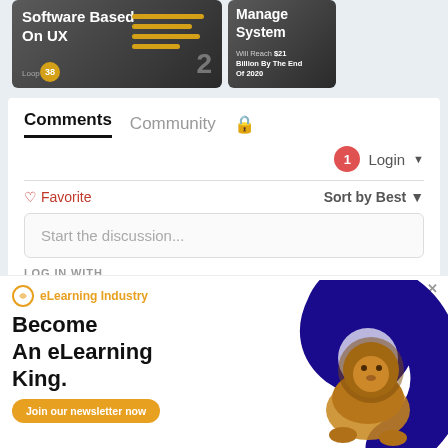[Figure (screenshot): Two thumbnail cards partially visible at top: left card shows 'Software Based On UX' with yellow progress bars and orange circle badge; right card shows 'Manage System' with text about $21 billion]
Comments   Community   🔒
1  Login ▾
♡ Favorite    Sort by Best ▾
Start the discussion...
LOG IN WITH
[Figure (advertisement): eLearning Industry advertisement banner with logo, lion image, blue swirl graphic. Text: 'Become An eLearning King.' with 'Join our newsletter now' yellow button]